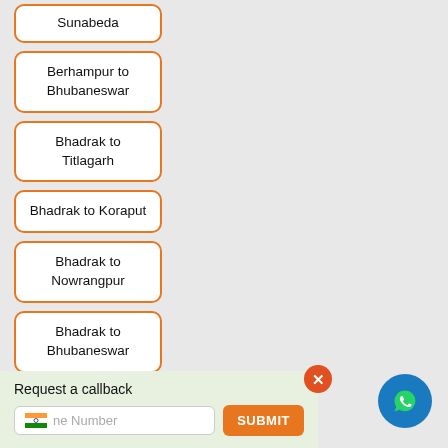Sunabeda
Berhampur to Bhubaneswar
Bhadrak to Titlagarh
Bhadrak to Koraput
Bhadrak to Nowrangpur
Bhadrak to Bhubaneswar
Request a callback
Phone Number
SUBMIT